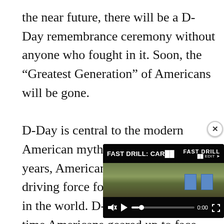the near future, there will be a D-Day remembrance ceremony without anyone who fought in it. Soon, the “Greatest Generation” of Americans will be gone.

D-Day is central to the modern American mythos. For the last 80 years, Americans have been the driving force for change and security in the world. D-Day was not the first time Americans geared up to face genocide on some foreign shore and The Global War on Terror will not be the last. D-Day was the day the world kne[...] became the greatest force[...] of liberty. That June day in[...] national legacy.
[Figure (screenshot): A video player overlay showing a shooting range drill video titled 'FAST DRILL: CAR...' with Fast Drill branding in the top right. The video shows targets on a shooting range. Controls include mute, play button, progress bar at 0:00, and fullscreen icon. A close (x) button appears outside the top-right of the player.]